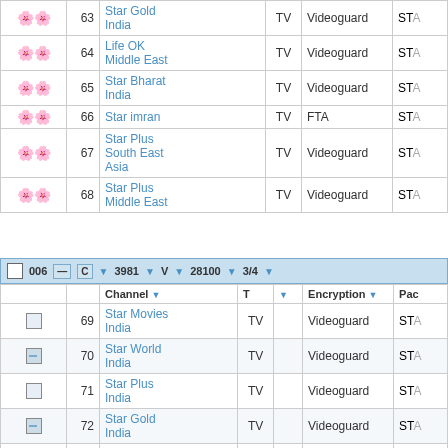|  | # | Channel | T | Encryption | Pac |
| --- | --- | --- | --- | --- | --- |
| [icons] | 63 | Star Gold India | TV | Videoguard | STA |
| [icons] | 64 | Life OK Middle East | TV | Videoguard | STA |
| [icons] | 65 | Star Bharat India | TV | Videoguard | STA |
| [icons] | 66 | Star imran | TV | FTA | STA |
| [icons] | 67 | Star Plus South East Asia | TV | Videoguard | STA |
| [icons] | 68 | Star Plus Middle East | TV | Videoguard | STA |
006 C 3981 V 28100 3/4
|  | # | Channel | T | Encryption | Pac |
| --- | --- | --- | --- | --- | --- |
| [checkbox] | 69 | Star Movies India | TV | Videoguard | STA |
| [checkbox] | 70 | Star World India | TV | Videoguard | STA |
| [checkbox] | 71 | Star Plus India | TV | Videoguard | STA |
| [checkbox] | 72 | Star Gold India | TV | Videoguard | STA |
| [checkbox] | 73 | Star Plus Pakistan | TV | Videoguard | STA |
| [checkbox] | 74 | Nat Geo Adventure Asia | TV | Videoguard | STA |
| [checkbox] | 75 | Fox History & Entertainment | TV | Videoguard | STA |